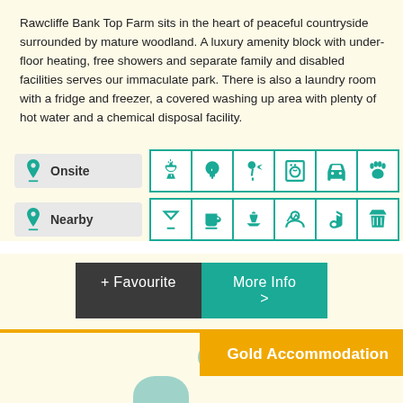Rawcliffe Bank Top Farm sits in the heart of peaceful countryside surrounded by mature woodland. A luxury amenity block with under-floor heating, free showers and separate family and disabled facilities serves our immaculate park. There is also a laundry room with a fridge and freezer, a covered washing up area with plenty of hot water and a chemical disposal facility.
[Figure (infographic): Amenity icons showing Onsite and Nearby facilities with teal bordered icons including BBQ, electric hookup, hairdryer, laundry, car, pets for Onsite; and cocktail, cafe, activities, outdoor, music, shopping for Nearby]
[Figure (infographic): Buttons row: dark grey '+ Favourite' button and teal 'More Info >' button]
[Figure (infographic): Gold Accommodation badge on yellow-cream background with decorative blobs]